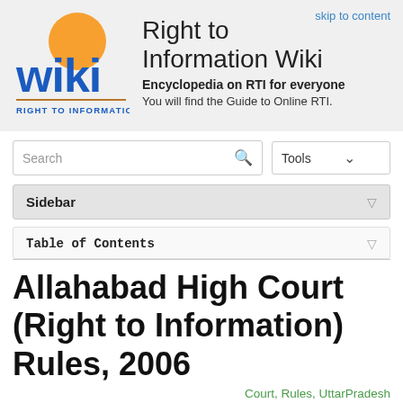[Figure (logo): Right to Information Wiki logo with orange sun circle and blue 'wiki' text, tagline 'RIGHT TO INFORMATION']
Right to Information Wiki
Encyclopedia on RTI for everyone
You will find the Guide to Online RTI.
skip to content
Sidebar
Table of Contents
Allahabad High Court (Right to Information) Rules, 2006
Court, Rules, UttarPradesh